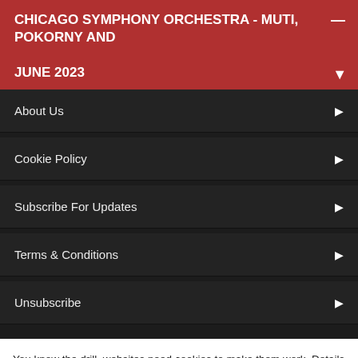CHICAGO SYMPHONY ORCHESTRA - MUTI, POKORNY AND JUNE 2023
About Us
Cookie Policy
Subscribe For Updates
Terms & Conditions
Unsubscribe
You know the drill, websites need cookies to make them work. Details of how we do it here.
Got it!